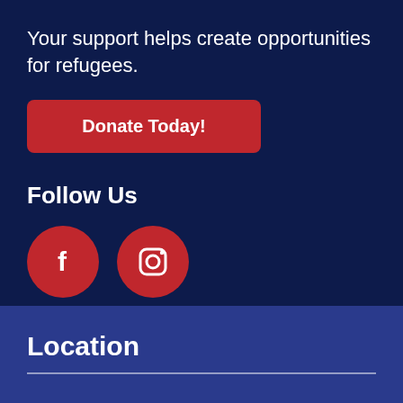Your support helps create opportunities for refugees.
[Figure (other): Red rounded rectangle button with white bold text 'Donate Today!']
Follow Us
[Figure (other): Two red circular social media icons: Facebook (f) and Instagram (camera icon)]
Location